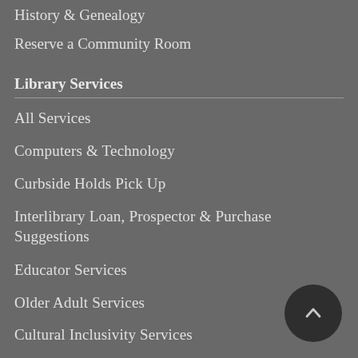History & Genealogy
Reserve a Community Room
Library Services
All Services
Computers & Technology
Curbside Holds Pick Up
Interlibrary Loan, Prospector & Purchase Suggestions
Educator Services
Older Adult Services
Cultural Inclusivity Services
BizBoost: Small Business Appointments